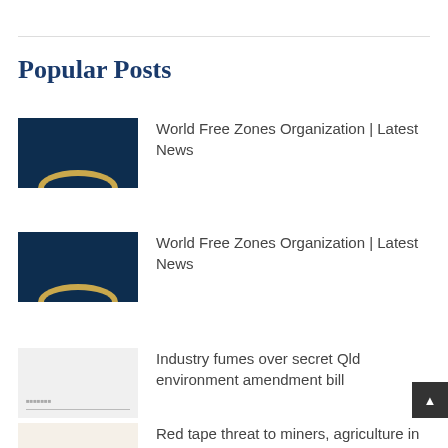Popular Posts
World Free Zones Organization | Latest News
World Free Zones Organization | Latest News
Industry fumes over secret Qld environment amendment bill
Red tape threat to miners, agriculture in